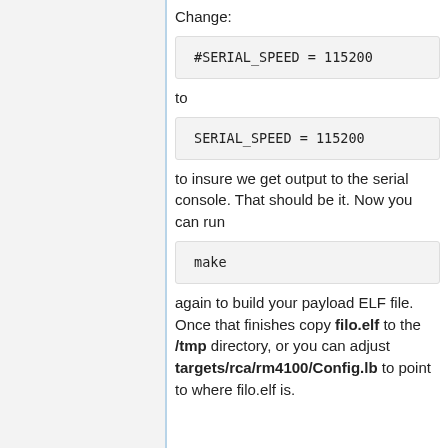Change:
to
to insure we get output to the serial console. That should be it. Now you can run
again to build your payload ELF file. Once that finishes copy filo.elf to the /tmp directory, or you can adjust targets/rca/rm4100/Config.lb to point to where filo.elf is.